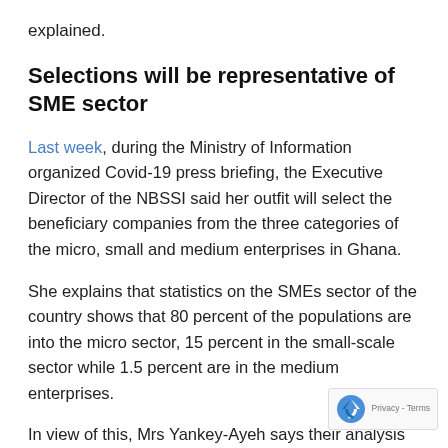explained.
Selections will be representative of SME sector
Last week, during the Ministry of Information organized Covid-19 press briefing, the Executive Director of the NBSSI said her outfit will select the beneficiary companies from the three categories of the micro, small and medium enterprises in Ghana.
She explains that statistics on the SMEs sector of the country shows that 80 percent of the populations are into the micro sector, 15 percent in the small-scale sector while 1.5 percent are in the medium enterprises.
In view of this, Mrs Yankey-Ayeh says their analysis statistics indicated that about 200,000 businesses w